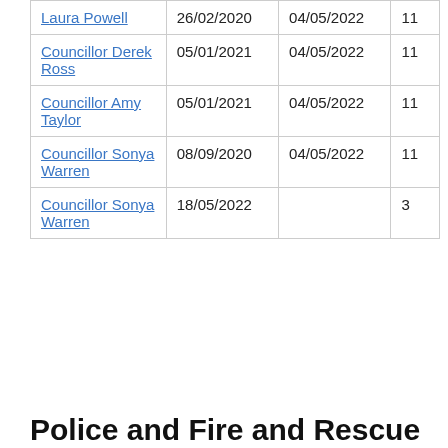| Laura Powell | 26/02/2020 | 04/05/2022 | 11 |
| Councillor Derek Ross | 05/01/2021 | 04/05/2022 | 11 |
| Councillor Amy Taylor | 05/01/2021 | 04/05/2022 | 11 |
| Councillor Sonya Warren | 08/09/2020 | 04/05/2022 | 11 |
| Councillor Sonya Warren | 18/05/2022 |  | 3 |
Police and Fire and Rescue